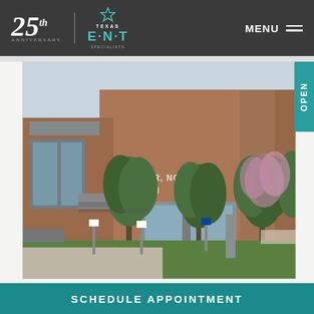25th Anniversary | Texas ENT Specialists | MENU
[Figure (photo): Exterior photo of Texas ENT Specialists building, a two-story brick and stone medical office building with trees in front and signage reading 'EAR, NOSE... SPECIALISTS'. An 'OPEN' tab is visible on the right side.]
back to search
SCHEDULE APPOINTMENT